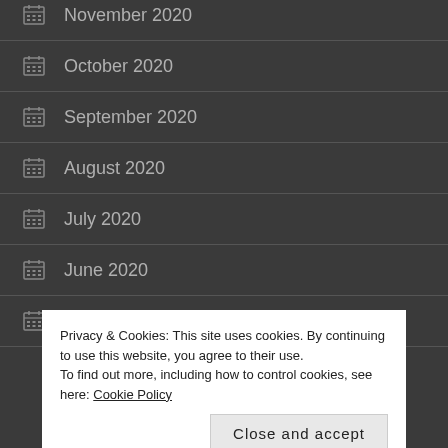November 2020
October 2020
September 2020
August 2020
July 2020
June 2020
May 2020
Privacy & Cookies: This site uses cookies. By continuing to use this website, you agree to their use. To find out more, including how to control cookies, see here: Cookie Policy
February 2020